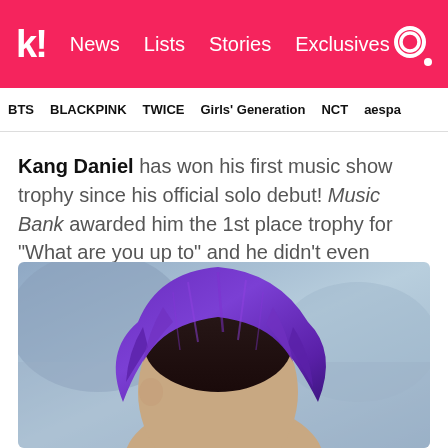k! News Lists Stories Exclusives
BTS BLACKPINK TWICE Girls' Generation NCT aespa
Kang Daniel has won his first music show trophy since his official solo debut! Music Bank awarded him the 1st place trophy for “What are you up to” and he didn’t even appear on the show!
[Figure (photo): Photo of a person with purple/violet hair viewed from behind/side, blurred blue-grey background]